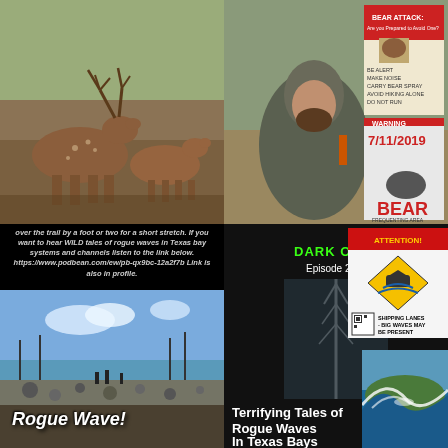[Figure (photo): Two spotted deer (fallow deer) in natural outdoor setting with brown background]
[Figure (photo): Man in camouflage hoodie standing near bear warning signs reading BEAR ATTACK, BE ALERT, MAKE NOISE, CARRY BEAR SPRAY, AVOID HIKING ALONE, DO NOT RUN; and WARNING 7/11/2019 BEAR FREQUENTING AREA]
over the trail by a foot or two for a short stretch. If you want to hear WILD tales of rogue waves in Texas bay systems and channels listen to the link below. https://www.podbean.com/ew/pb-qx9bc-12a2f7b Link is also in profile.
[Figure (photo): Shoreline photo with rocky beach, calm water, blue sky with clouds and distant structures]
Rogue Wave!
[Figure (photo): Dark Outdoors podcast episode 2 branding with green text logo]
[Figure (photo): Attention shipping lanes warning sign: SHIPPING LANES - BIG WAVES MAY BE PRESENT with diamond hazard symbol and QR code]
[Figure (photo): Communication tower against grey cloudy sky]
Terrifying Tales of Rogue Waves In Texas Bays
[Figure (photo): Large ocean wave breaking in blue water]